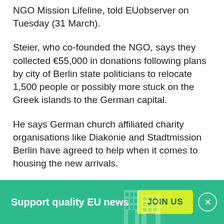NGO Mission Lifeline, told EUobserver on Tuesday (31 March).
Steier, who co-founded the NGO, says they collected €55,000 in donations following plans by city of Berlin state politicians to relocate 1,500 people or possibly more stuck on the Greek islands to the German capital.
He says German church affiliated charity organisations like Diakonie and Stadtmission Berlin have agreed to help when it comes to housing the new arrivals.
The money collected covers two flights but the NGO is seeking more donations to continue future airlifts.
[Figure (infographic): Green banner advertisement: 'Support quality EU news' with a yellow 'JOIN US' button and a close (×) button. Background shows faint building illustration.]